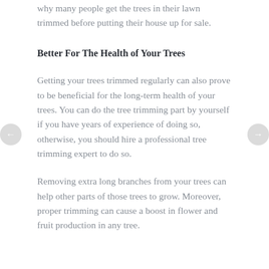why many people get the trees in their lawn trimmed before putting their house up for sale.
Better For The Health of Your Trees
Getting your trees trimmed regularly can also prove to be beneficial for the long-term health of your trees. You can do the tree trimming part by yourself if you have years of experience of doing so, otherwise, you should hire a professional tree trimming expert to do so.
Removing extra long branches from your trees can help other parts of those trees to grow. Moreover, proper trimming can cause a boost in flower and fruit production in any tree.